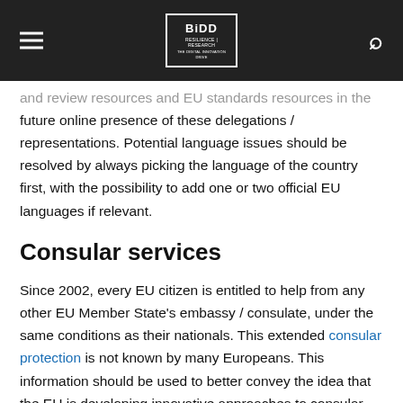BIDD — website header with logo, hamburger menu, and search icon
and review resources and EU standards resources in the future online presence of these delegations / representations. Potential language issues should be resolved by always picking the language of the country first, with the possibility to add one or two official EU languages if relevant.
Consular services
Since 2002, every EU citizen is entitled to help from any other EU Member State's embassy / consulate, under the same conditions as their nationals. This extended consular protection is not known by many Europeans. This information should be used to better convey the idea that the EU is developing innovative approaches to consular protection and visa policies (since 2010, there is a common visa policy).